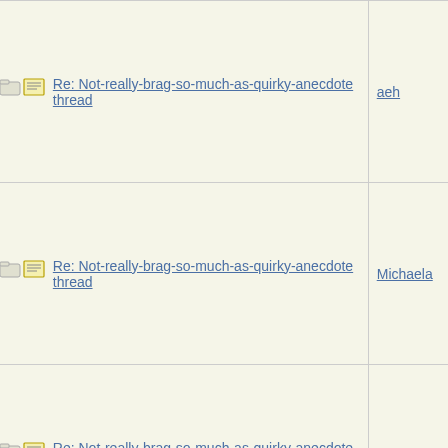|  | Subject | Author |
| --- | --- | --- |
| [folder][msg] | Re: Not-really-brag-so-much-as-quirky-anecdote thread | aeh |
| [folder][msg] | Re: Not-really-brag-so-much-as-quirky-anecdote thread | Michaela |
| [folder][msg] | Re: Not-really-brag-so-much-as-quirky-anecdote thread | LazyMum |
| [folder][msg] | Re: Not-really-brag-so-much-as-quirky-anecdote thread | Michaela |
| [folder][msg] | Re: Not-really-brag-so-much-as-quirky-anecdote thread | RRD |
| [folder][msg] | Re: Not-really-brag-so-much-as-quirky-anecdote thread | RRD |
| [folder][msg] | Re: Not-... |  |